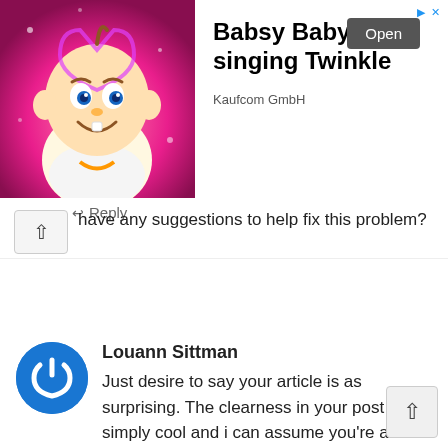[Figure (screenshot): Advertisement banner for 'Babsy Baby singing Twinkle' app by Kaufcom GmbH, showing a cartoon baby character on pink background with an Open button]
have any suggestions to help fix this problem?
↩ Reply
Louann Sittman
Just desire to say your article is as surprising. The clearness in your post is simply cool and i can assume you're an expert on this subject. Well with your permission let me to grab your feed to keep up to date with forthcoming post. Thanks a million and please continue th gratifying work.